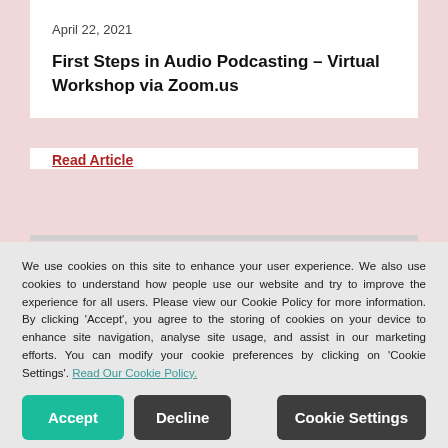April 22, 2021
First Steps in Audio Podcasting – Virtual Workshop via Zoom.us
Read Article
We use cookies on this site to enhance your user experience. We also use cookies to understand how people use our website and try to improve the experience for all users. Please view our Cookie Policy for more information. By clicking 'Accept', you agree to the storing of cookies on your device to enhance site navigation, analyse site usage, and assist in our marketing efforts. You can modify your cookie preferences by clicking on 'Cookie Settings'. Read Our Cookie Policy.
Accept
Decline
Cookie Settings